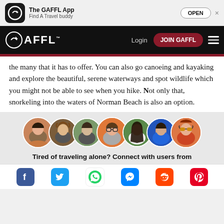[Figure (screenshot): App store banner for The GAFFL App with icon, tagline 'Find A Travel buddy', and OPEN button]
[Figure (screenshot): GAFFL website navigation bar with logo, Login link, JOIN GAFFL button, and hamburger menu]
the many that it has to offer. You can also go canoeing and kayaking and explore the beautiful, serene waterways and spot wildlife which you might not be able to see when you hike. Not only that, snorkeling into the waters of Norman Beach is also an option.
[Figure (photo): Row of seven circular profile photos of travel app users]
Tired of traveling alone? Connect with users from
[Figure (infographic): Social media sharing icons: Facebook, Twitter, WhatsApp, Messenger, Reddit, Pinterest]